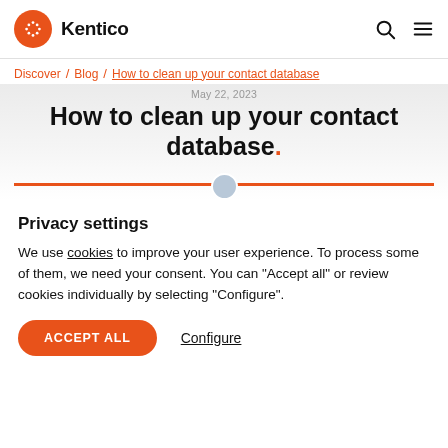Kentico
Discover / Blog / How to clean up your contact database
How to clean up your contact database.
Privacy settings
We use cookies to improve your user experience. To process some of them, we need your consent. You can "Accept all" or review cookies individually by selecting "Configure".
ACCEPT ALL  Configure